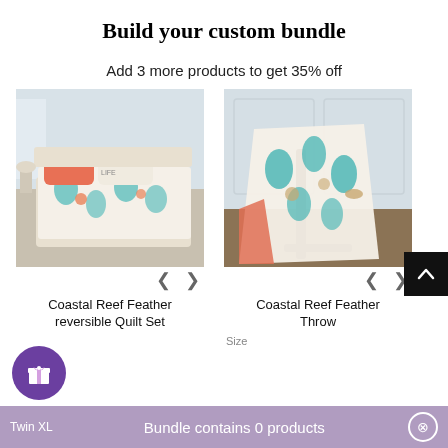Build your custom bundle
Add 3 more products to get 35% off
[Figure (photo): Coastal Reef Feather Reversible Quilt Set displayed on a bed with coral and teal ocean-themed pattern]
[Figure (photo): Coastal Reef Feather Throw displayed folded over a stand with coral and teal ocean-themed pattern]
Coastal Reef Feather Reversible Quilt Set
Coastal Reef Feather Throw
Size
Twin XL   Bundle contains 0 products